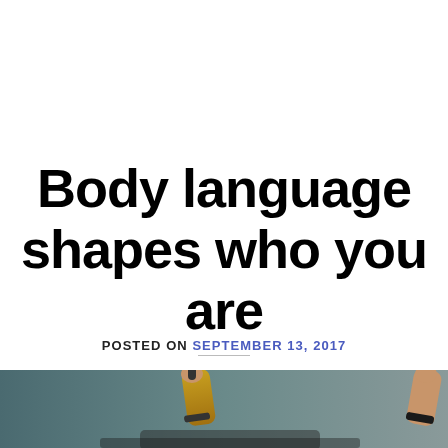Body language shapes who you are
POSTED ON SEPTEMBER 13, 2017
[Figure (photo): Person on stage with both arms raised, holding a microphone, wearing a gold outfit, performing in front of a teal/grey background. A date badge showing 13 Sep is overlaid in the bottom-left corner.]